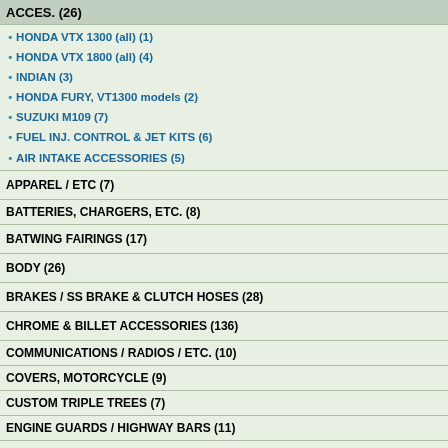ACCES. (26)
HONDA VTX 1300 (all) (1)
HONDA VTX 1800 (all) (4)
INDIAN (3)
HONDA FURY, VT1300 models (2)
SUZUKI M109 (7)
FUEL INJ. CONTROL & JET KITS (6)
AIR INTAKE ACCESSORIES (5)
APPAREL / ETC (7)
BATTERIES, CHARGERS, ETC. (8)
BATWING FAIRINGS (17)
BODY (26)
BRAKES / SS BRAKE & CLUTCH HOSES (28)
CHROME & BILLET ACCESSORIES (136)
COMMUNICATIONS / RADIOS / ETC. (10)
COVERS, MOTORCYCLE (9)
CUSTOM TRIPLE TREES (7)
ENGINE GUARDS / HIGHWAY BARS (11)
EXHAUST (95)
FAT TIRE INSTALL. PARTS (9)
FENDERS (30)
[Figure (photo): Black metal bracket part labeled 'Little Black thingy / Other wise known as Bracket' with an arrow pointing to it, for VT1300 Fury, Saber, etc.]
[Figure (photo): Live To Ride Air Cleaner Cover - Fury & All VT1300, showing chrome motorcycle engine cover with eagle emblem]
Displaying 1 to 2 (of 2 products)